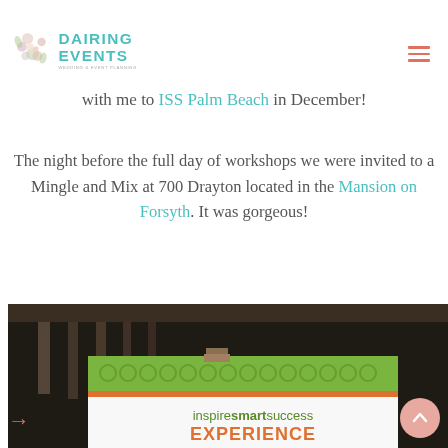[Figure (logo): Dairing Events logo with floral illustration and teal/turquoise text reading DAIRING EVENTS with subtitle text]
with me to ISS Palm Beach in December!
The night before the full day of workshops we were invited to a Mingle and Mix at 700 Drayton located in the Mansion on Forsyth. It was gorgeous!
[Figure (photo): Indoor photo showing a staircase railing and a banner/sign for 'inspire smart success EXPERIENCE' with green patterned header and white body with orange text]